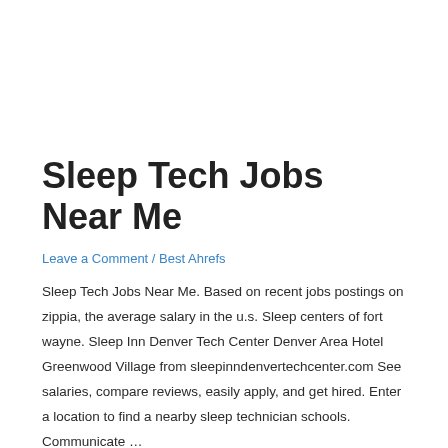Sleep Tech Jobs Near Me
Leave a Comment / Best Ahrefs
Sleep Tech Jobs Near Me. Based on recent jobs postings on zippia, the average salary in the u.s. Sleep centers of fort wayne. Sleep Inn Denver Tech Center Denver Area Hotel Greenwood Village from sleepinndenvertechcenter.com See salaries, compare reviews, easily apply, and get hired. Enter a location to find a nearby sleep technician schools. Communicate …
Read More